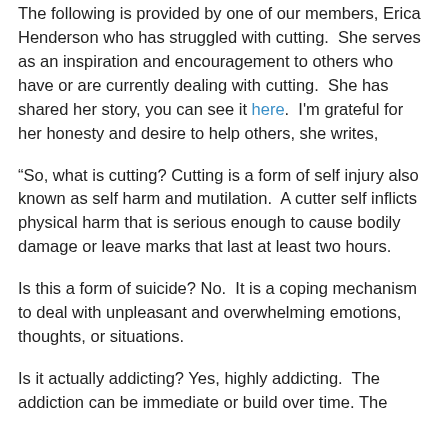The following is provided by one of our members, Erica Henderson who has struggled with cutting.  She serves as an inspiration and encouragement to others who have or are currently dealing with cutting.  She has shared her story, you can see it here.  I'm grateful for her honesty and desire to help others, she writes,
“So, what is cutting? Cutting is a form of self injury also known as self harm and mutilation.  A cutter self inflicts physical harm that is serious enough to cause bodily damage or leave marks that last at least two hours.
Is this a form of suicide? No.  It is a coping mechanism to deal with unpleasant and overwhelming emotions, thoughts, or situations.
Is it actually addicting? Yes, highly addicting.  The addiction can be immediate or build over time. The